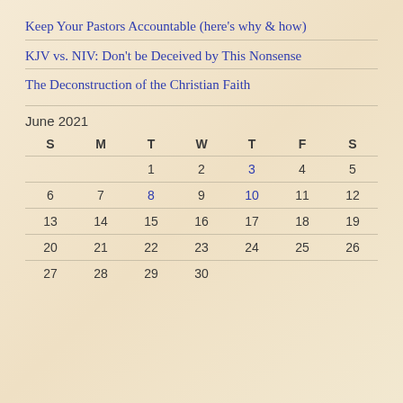Keep Your Pastors Accountable (here's why & how)
KJV vs. NIV: Don't be Deceived by This Nonsense
The Deconstruction of the Christian Faith
June 2021
| S | M | T | W | T | F | S |
| --- | --- | --- | --- | --- | --- | --- |
|  |  | 1 | 2 | 3 | 4 | 5 |
| 6 | 7 | 8 | 9 | 10 | 11 | 12 |
| 13 | 14 | 15 | 16 | 17 | 18 | 19 |
| 20 | 21 | 22 | 23 | 24 | 25 | 26 |
| 27 | 28 | 29 | 30 |  |  |  |